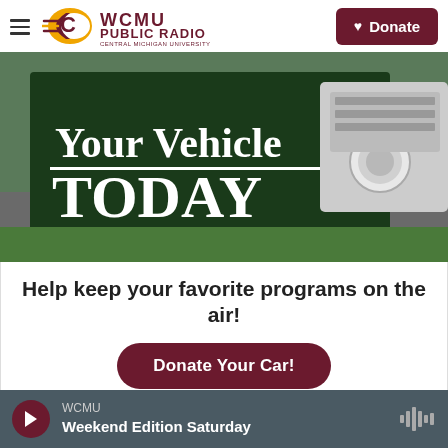WCMU PUBLIC RADIO — CENTRAL MICHIGAN UNIVERSITY | ♥ Donate
[Figure (photo): Hero banner image showing a close-up of a car headlight on the right and a dark green sign on the left reading 'Your Vehicle TODAY' in white text, promoting vehicle donation.]
Help keep your favorite programs on the air!
Donate Your Car!
WCMU — Weekend Edition Saturday [Play button] [Waveform icon]